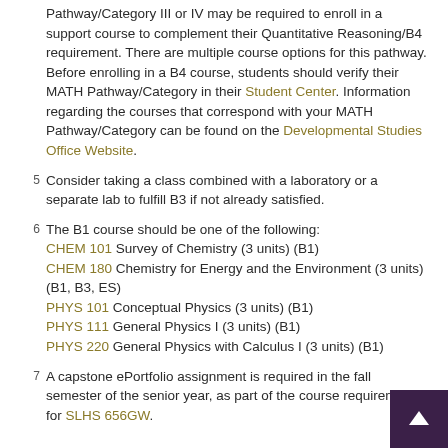Pathway/Category III or IV may be required to enroll in a support course to complement their Quantitative Reasoning/B4 requirement. There are multiple course options for this pathway. Before enrolling in a B4 course, students should verify their MATH Pathway/Category in their Student Center. Information regarding the courses that correspond with your MATH Pathway/Category can be found on the Developmental Studies Office Website.
5 Consider taking a class combined with a laboratory or a separate lab to fulfill B3 if not already satisfied.
6 The B1 course should be one of the following: CHEM 101 Survey of Chemistry (3 units) (B1) CHEM 180 Chemistry for Energy and the Environment (3 units) (B1, B3, ES) PHYS 101 Conceptual Physics (3 units) (B1) PHYS 111 General Physics I (3 units) (B1) PHYS 220 General Physics with Calculus I (3 units) (B1)
7 A capstone ePortfolio assignment is required in the fall semester of the senior year, as part of the course requirements for SLHS 656GW.